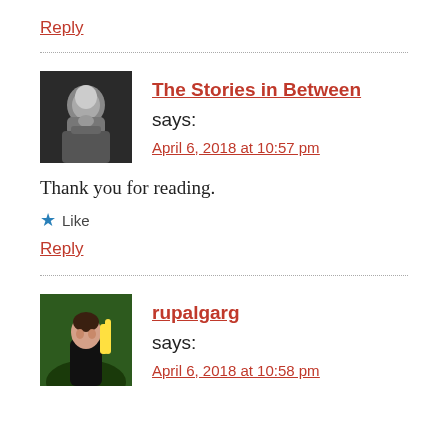Reply
The Stories in Between says:
April 6, 2018 at 10:57 pm
Thank you for reading.
Like
Reply
rupalgarg says:
April 6, 2018 at 10:58 pm